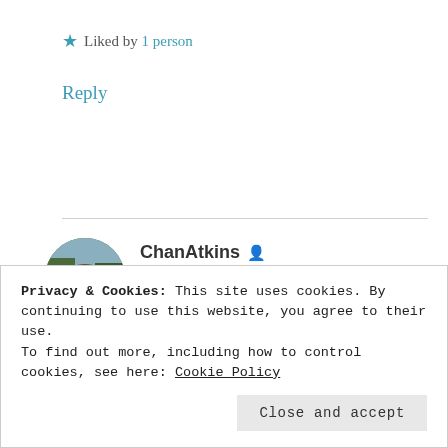★ Liked by 1 person
Reply
[Figure (photo): Circular avatar photo of ChanAtkins — a person with shoulder-length hair outdoors with trees in background]
ChanAtkins
JUNE 2, 2017 AT 6:39 PM
Privacy & Cookies: This site uses cookies. By continuing to use this website, you agree to their use.
To find out more, including how to control cookies, see here: Cookie Policy
Close and accept